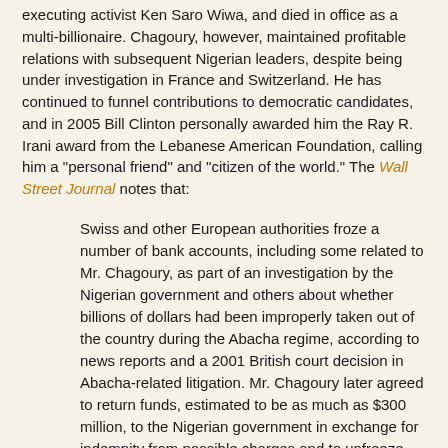executing activist Ken Saro Wiwa, and died in office as a multi-billionaire. Chagoury, however, maintained profitable relations with subsequent Nigerian leaders, despite being under investigation in France and Switzerland. He has continued to funnel contributions to democratic candidates, and in 2005 Bill Clinton personally awarded him the Ray R. Irani award from the Lebanese American Foundation, calling him a "personal friend" and "citizen of the world." The Wall Street Journal notes that:
Swiss and other European authorities froze a number of bank accounts, including some related to Mr. Chagoury, as part of an investigation by the Nigerian government and others about whether billions of dollars had been improperly taken out of the country during the Abacha regime, according to news reports and a 2001 British court decision in Abacha-related litigation. Mr. Chagoury later agreed to return funds, estimated to be as much as $300 million, to the Nigerian government in exchange for indemnity from possible charges and to unfreeze his accounts, according to the British court decision